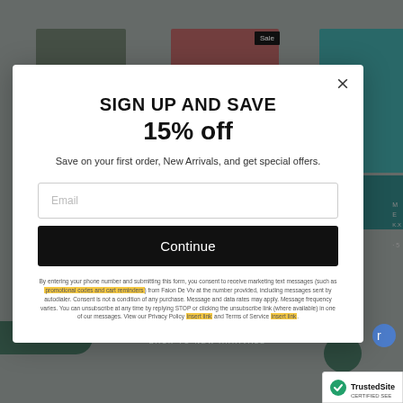[Figure (screenshot): E-commerce website background showing product images of women's clothing in green, pink/magenta, and teal colors, partially obscured by modal overlay]
SIGN UP AND SAVE
15% off
Save on your first order, New Arrivals, and get special offers.
Email
Continue
By entering your phone number and submitting this form, you consent to receive marketing text messages (such as promotional codes and cart reminders) from Faion De Viv at the number provided, including messages sent by autodialer. Consent is not a condition of any purchase. Message and data rates may apply. Message frequency varies. You can unsubscribe at any time by replying STOP or clicking the unsubscribe link (where available) in one of our messages. View our Privacy Policy [insert link] and Terms of Service [insert link].
Rewards
← BACK TO NEW ARRIVALS
[Figure (logo): TrustedSite certified badge with green checkmark]